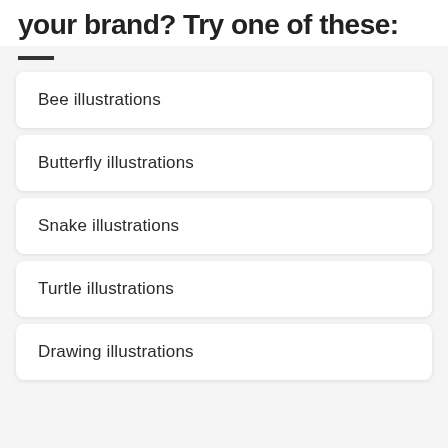your brand? Try one of these:
Bee illustrations
Butterfly illustrations
Snake illustrations
Turtle illustrations
Drawing illustrations